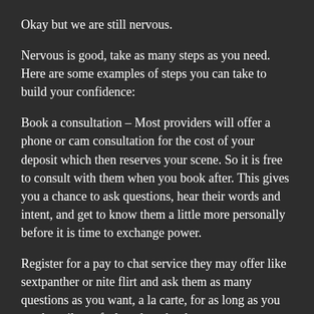Okay but we are still nervous.
Nervous is good, take as many steps as you need. Here are some examples of steps you can take to build your confidence:
Book a consultation – Most providers will offer a phone or cam consultation for the cost of your deposit which then reserves your scene. So it is free to consult with them when you book after. This gives you a chance to ask questions, hear their words and intent, and get to know them a little more personally before it is time to exchange power.
Register for a pay to chat service they may offer like sextpanther or nite flirt and ask them as many questions as you want, a la carte, for as long as you need, until you feel ready to book.